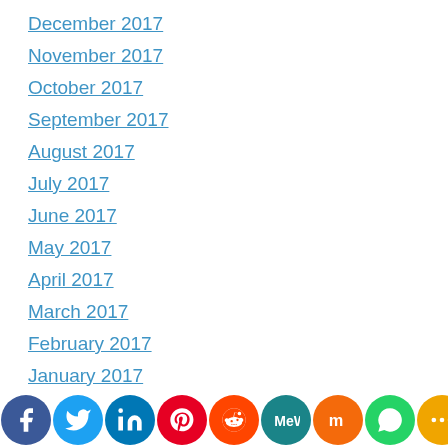December 2017
November 2017
October 2017
September 2017
August 2017
July 2017
June 2017
May 2017
April 2017
March 2017
February 2017
January 2017
December 2016
November 2016